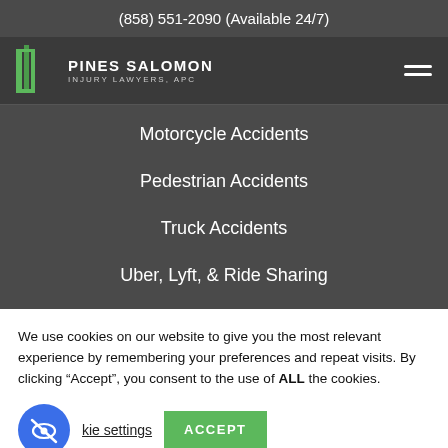(858) 551-2090 (Available 24/7)
[Figure (logo): Pines Salomon Injury Lawyers, APC logo with green pillar icon and white text]
Motorcycle Accidents
Pedestrian Accidents
Truck Accidents
Uber, Lyft, & Ride Sharing
We use cookies on our website to give you the most relevant experience by remembering your preferences and repeat visits. By clicking “Accept”, you consent to the use of ALL the cookies.
kie settings
ACCEPT